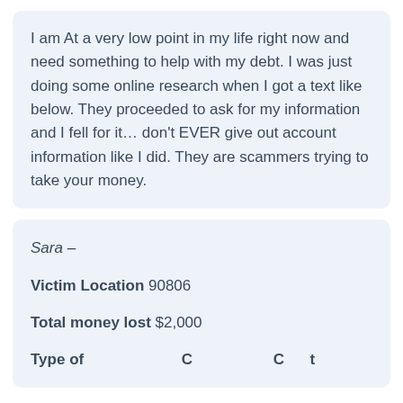I am At a very low point in my life right now and need something to help with my debt. I was just doing some online research when I got a text like below. They proceeded to ask for my information and I fell for it… don't EVER give out account information like I did. They are scammers trying to take your money.
Sara –
Victim Location 90806
Total money lost $2,000
Type of...